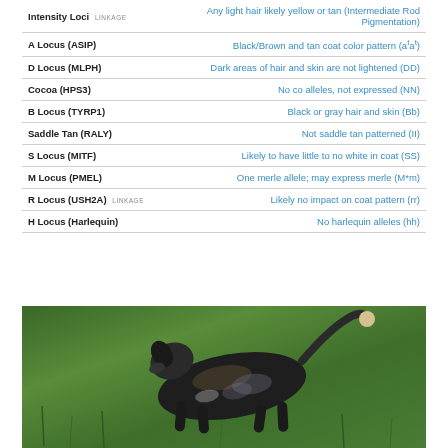| Trait | Result |
| --- | --- |
| Intensity Loci LINKAGE | Any light hair likely yellow or tan (Intermediate Rod Pigmentation) |
| A Locus (ASIP) | Black/Brown and tan coat color pattern (aᵗaᵗ) |
| D Locus (MLPH) | Dark areas of hair and skin are not lightened (DD) |
| Cocoa (HPS3) | No co alleles, not expressed (NN) |
| B Locus (TYRP1) | Black or gray hair and skin (Bb) |
| Saddle Tan (RALY) | Not saddle tan patterned (II) |
| S Locus (MITF) | Likely to have little to no white in coat (SS) |
| M Locus (PMEL) | One merle allele; may express merle (M*m) |
| R Locus (USH2A) LINKAGE | Likely no impact on coat pattern (rr) |
| H Locus (Harlequin) | No harlequin alleles (hh) |
[Figure (photo): A dark-colored dog (black and tan, merle) running or playing on green grass, viewed from above/behind, with a light-tipped tail raised.]